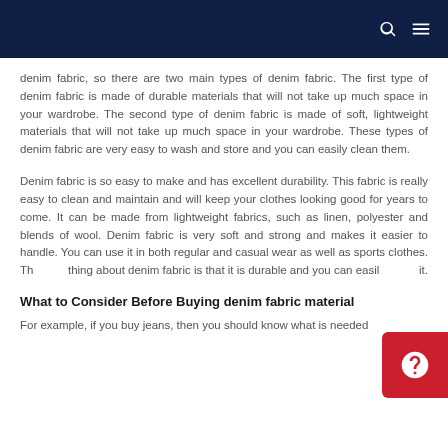[navigation bar with search and menu icons]
denim fabric, so there are two main types of denim fabric. The first type of denim fabric is made of durable materials that will not take up much space in your wardrobe. The second type of denim fabric is made of soft, lightweight materials that will not take up much space in your wardrobe. These types of denim fabric are very easy to wash and store and you can easily clean them.
Denim fabric is so easy to make and has excellent durability. This fabric is really easy to clean and maintain and will keep your clothes looking good for years to come. It can be made from lightweight fabrics, such as linen, polyester and blends of wool. Denim fabric is very soft and strong and makes it easier to handle. You can use it in both regular and casual wear as well as sports clothes. The thing about denim fabric is that it is durable and you can easily it.
What to Consider Before Buying denim fabric material
For example, if you buy jeans, then you should know what is needed